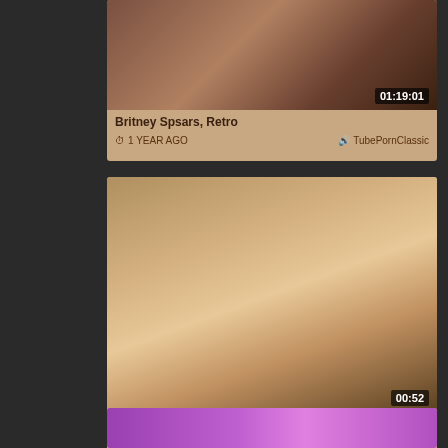[Figure (screenshot): Video thumbnail card 1 with duration 01:19:01, title Britney Spsars, Retro, 1 YEAR AGO, TubePornClassic]
Britney Spsars, Retro
1 YEAR AGO   TubePornClassic
[Figure (screenshot): Video thumbnail card 2 with duration 00:52, title Britney Spears Porn, Britney Spsars, Britney Spears Xxx, Celebrity, 1 YEAR AGO, xHamster]
Britney Spears Porn, Britney Spsars, Britney Spears Xxx, Celebrity
1 YEAR AGO   xHamster
[Figure (screenshot): Partial video thumbnail card 3 at bottom of page]